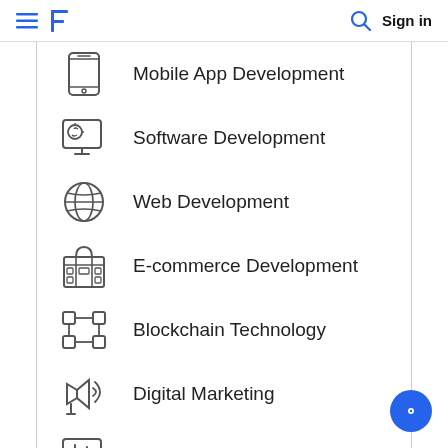Sign in
Mobile App Development
Software Development
Web Development
E-commerce Development
Blockchain Technology
Digital Marketing
Web Designing (UI/UX)